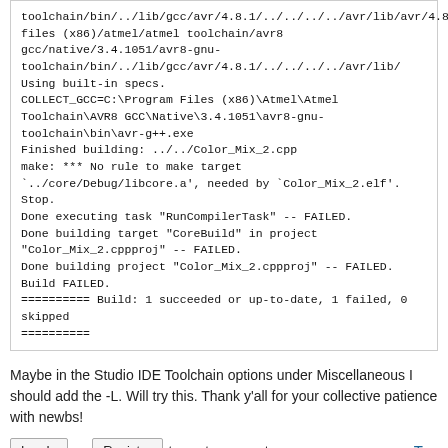toolchain/bin/../lib/gcc/avr/4.8.1/../../../../avr/lib/avr/4.8.1/c:/program files (x86)/atmel/atmel toolchain/avr8 gcc/native/3.4.1051/avr8-gnu-toolchain/bin/../lib/gcc/avr/4.8.1/../../../../avr/lib/
Using built-in specs.
COLLECT_GCC=C:\Program Files (x86)\Atmel\Atmel Toolchain\AVR8 GCC\Native\3.4.1051\avr8-gnu-toolchain\bin\avr-g++.exe
Finished building: ../../Color_Mix_2.cpp
make: *** No rule to make target `../core/Debug/libcore.a', needed by `Color_Mix_2.elf'. Stop.
Done executing task "RunCompilerTask" -- FAILED.
Done building target "CoreBuild" in project "Color_Mix_2.cppproj" -- FAILED.
Done building project "Color_Mix_2.cppproj" -- FAILED.
Build FAILED.
========== Build: 1 succeeded or up-to-date, 1 failed, 0 skipped
==========
Maybe in the Studio IDE Toolchain options under Miscellaneous I should add the -L. Will try this. Thank y'all for your collective patience with newbs!
Log In or Register to post comments   Top
Posted by clawson; Sat, Apr 5, 2014 - 03:24 PM   #4